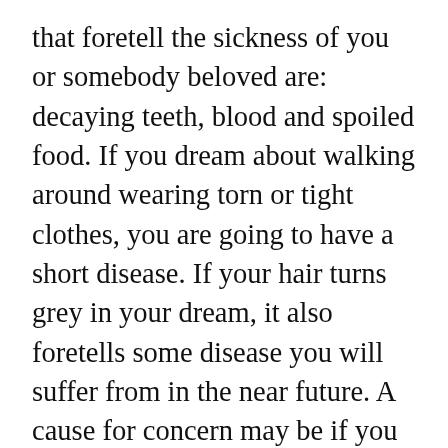that foretell the sickness of you or somebody beloved are: decaying teeth, blood and spoiled food. If you dream about walking around wearing torn or tight clothes, you are going to have a short disease. If your hair turns grey in your dream, it also foretells some disease you will suffer from in the near future. A cause for concern may be if you dream about a blind man – such a dream may announce that a person you love is ill. If a ticking clock appears in your dream, this also signifies sic...